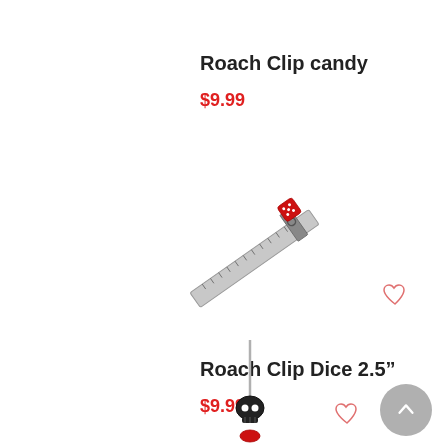Roach Clip candy
$9.99
[Figure (photo): A roach clip with a red dice charm attached to a metal ruler/clip]
Roach Clip Dice 2.5"
$9.99
[Figure (photo): A roach clip with a small skull and red decorative element on a metal pin/clip]